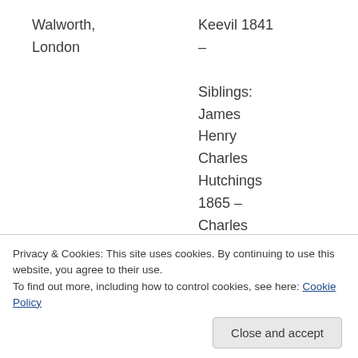Walworth, London
Keevil 1841 –
Siblings:
James
Henry
Charles
Hutchings
1865 –
Charles
Hutchings
1868 –
Privacy & Cookies: This site uses cookies. By continuing to use this website, you agree to their use.
To find out more, including how to control cookies, see here: Cookie Policy
Close and accept
Elizabeth